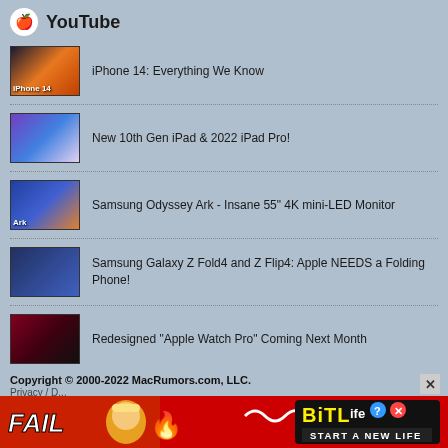YouTube
iPhone 14: Everything We Know
New 10th Gen iPad & 2022 iPad Pro!
Samsung Odyssey Ark - Insane 55" 4K mini-LED Monitor
Samsung Galaxy Z Fold4 and Z Flip4: Apple NEEDS a Folding Phone!
Redesigned "Apple Watch Pro" Coming Next Month
Copyright © 2000-2022 MacRumors.com, LLC.
[Figure (screenshot): Advertisement banner for BitLife game: red background with FAIL text, animated character, fire, BitLife logo, and START A NEW LIFE tagline]